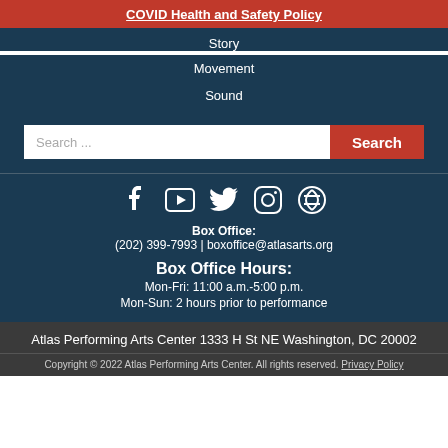COVID Health and Safety Policy
Story
Movement
Sound
Search ... Search
[Figure (infographic): Social media icons: Facebook, YouTube, Twitter, Instagram, Pinterest]
Box Office: (202) 399-7993 | boxoffice@atlasarts.org
Box Office Hours: Mon-Fri: 11:00 a.m.-5:00 p.m. Mon-Sun: 2 hours prior to performance
Atlas Performing Arts Center 1333 H St NE Washington, DC 20002
Copyright © 2022 Atlas Performing Arts Center. All rights reserved. Privacy Policy